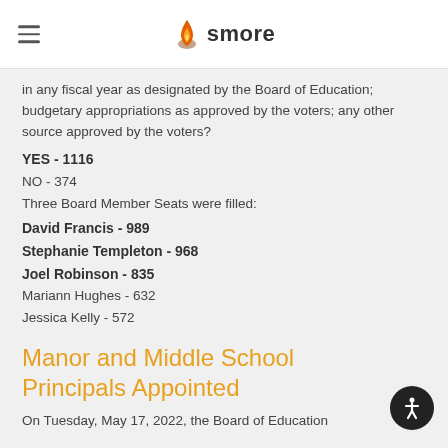smore
in any fiscal year as designated by the Board of Education; budgetary appropriations as approved by the voters; any other source approved by the voters?
YES - 1116
NO - 374
Three Board Member Seats were filled:
David Francis - 989
Stephanie Templeton - 968
Joel Robinson - 835
Mariann Hughes - 632
Jessica Kelly - 572
Manor and Middle School Principals Appointed
On Tuesday, May 17, 2022, the Board of Education